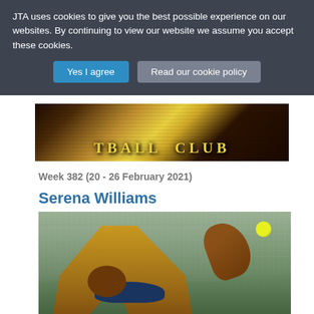JTA uses cookies to give you the best possible experience on our websites. By continuing to view our website we assume you accept these cookies.
Yes I agree
Read our cookie policy
[Figure (photo): Close-up photo of a football club badge/crest with yellow text reading 'TBALL CLUB' visible on a dark background with yellow lettering]
Week 382 (20 - 26 February 2021)
Serena Williams
[Figure (photo): Photo of Serena Williams serving a tennis ball, wearing a yellow top, with a yellow-green tennis ball visible in the upper right. She is reaching up with her hand, wearing a dark visor. Background shows a fence/court backdrop.]